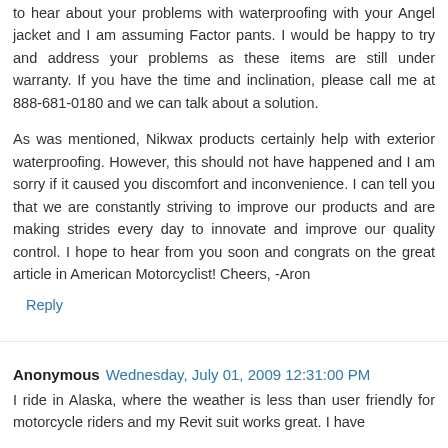to hear about your problems with waterproofing with your Angel jacket and I am assuming Factor pants. I would be happy to try and address your problems as these items are still under warranty. If you have the time and inclination, please call me at 888-681-0180 and we can talk about a solution.

As was mentioned, Nikwax products certainly help with exterior waterproofing. However, this should not have happened and I am sorry if it caused you discomfort and inconvenience. I can tell you that we are constantly striving to improve our products and are making strides every day to innovate and improve our quality control. I hope to hear from you soon and congrats on the great article in American Motorcyclist! Cheers, -Aron
Reply
Anonymous Wednesday, July 01, 2009 12:31:00 PM
I ride in Alaska, where the weather is less than user friendly for motorcycle riders and my Revit suit works great. I have